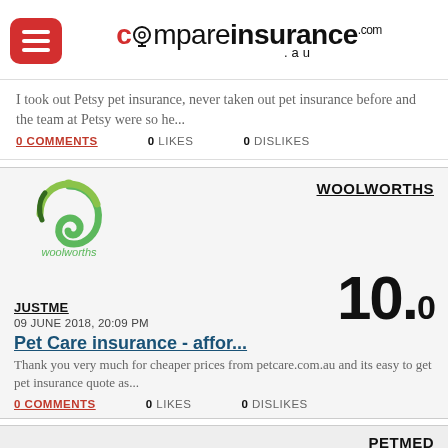[Figure (logo): compareinsurance.com.au website header with hamburger menu button and logo]
I took out Petsy pet insurance, never taken out pet insurance before and the team at Petsy were so he...
0 COMMENTS   0 LIKES   0 DISLIKES
[Figure (logo): Woolworths logo - green swirl with text woolworths below]
WOOLWORTHS
JUSTME
09 JUNE 2018, 20:09 PM
10.0
Pet Care insurance - affor...
Thank you very much for cheaper prices from petcare.com.au and its easy to get pet insurance quote as...
0 COMMENTS   0 LIKES   0 DISLIKES
PETMED